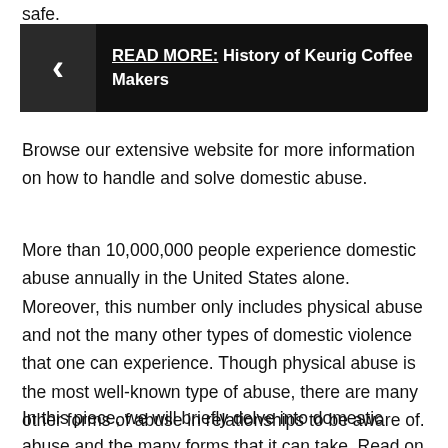safe.
[Figure (infographic): Black banner with a left-pointing chevron arrow icon on the left side and bold white text reading 'READ MORE: History of Keurig Coffee Makers' on the right.]
Browse our extensive website for more information on how to handle and solve domestic abuse.
More than 10,000,000 people experience domestic abuse annually in the United States alone. Moreover, this number only includes physical abuse and not the many other types of domestic violence that one can experience. Though physical abuse is the most well-known type of abuse, there are many other forms of abuse in relationships to be aware of.
In this piece, we will briefly delve into domestic abuse and the many forms that it can take. Read on for more